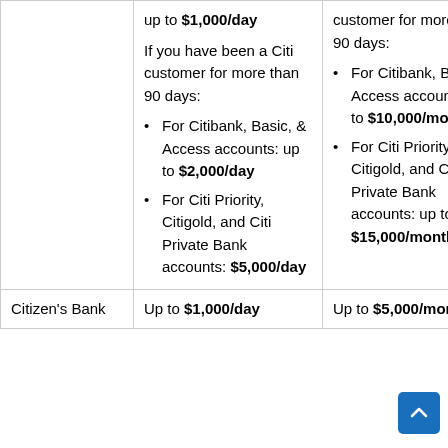| Bank | Daily Limit | Monthly Limit |
| --- | --- | --- |
|  | up to $1,000/day

If you have been a Citi customer for more than 90 days:

• For Citibank, Basic, & Access accounts: up to $2,000/day
• For Citi Priority, Citigold, and Citi Private Bank accounts: $5,000/day | customer for more than 90 days:

• For Citibank, Basic, & Access accounts: up to $10,000/month
• For Citi Priority, Citigold, and Citi Private Bank accounts: up to $15,000/month |
| Citizen's Bank | Up to $1,000/day | Up to $5,000/month |